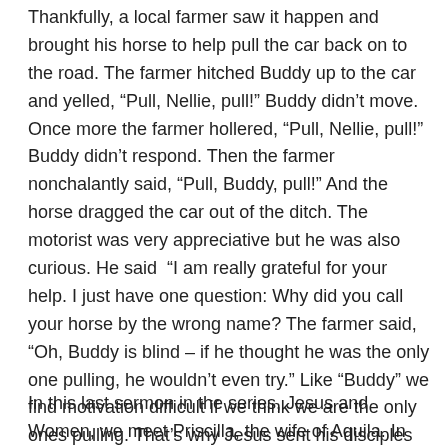Thankfully, a local farmer saw it happen and brought his horse to help pull the car back on to the road. The farmer hitched Buddy up to the car and yelled, “Pull, Nellie, pull!” Buddy didn’t move. Once more the farmer hollered, “Pull, Nellie, pull!” Buddy didn’t respond. Then the farmer nonchalantly said, “Pull, Buddy, pull!” And the horse dragged the car out of the ditch. The motorist was very appreciative but he was also curious. He said “I am really grateful for your help. I just have one question: Why did you call your horse by the wrong name? The farmer said, “Oh, Buddy is blind – if he thought he was the only one pulling, he wouldn’t even try.” Like “Buddy” we find motivation difficult if we think we are the only ones pulling. That’s why Jesus sent his disciples out in teams of two by two. It iciples out in teams of two. It’ motivated  the car bacrove his car into a ditch. s so much easier and more fulfilling to serve in teams isn’t it?
In this last sermon in the series, Jesus and Women, we meet Priscilla, the wife of Aquila. In Acts 18, she is introduced to the...